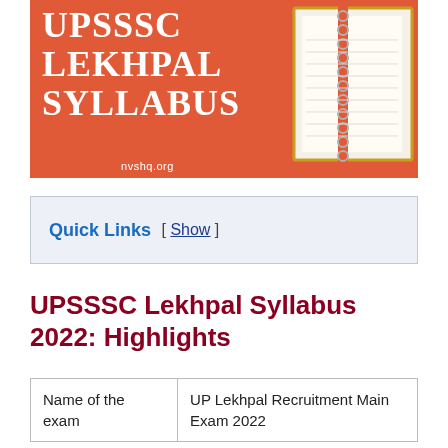[Figure (illustration): Orange banner with white serif text reading 'UPSSSC LEKHPAL SYLLABUS' and an illustrated notebook on the right side. URL 'nvshq.org' shown at the bottom.]
Quick Links  [ Show ]
UPSSSC Lekhpal Syllabus 2022: Highlights
| Name of the exam | UP Lekhpal Recruitment Main Exam 2022 |